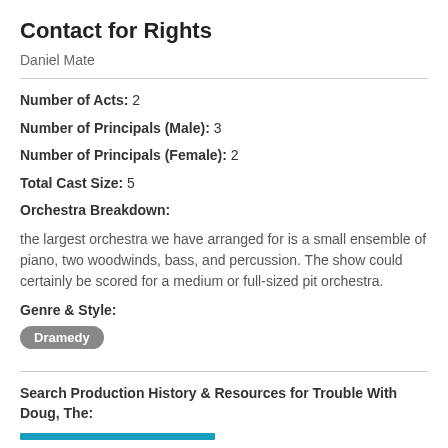Contact for Rights
Daniel Mate
Number of Acts: 2
Number of Principals (Male): 3
Number of Principals (Female): 2
Total Cast Size: 5
Orchestra Breakdown:
the largest orchestra we have arranged for is a small ensemble of piano, two woodwinds, bass, and percussion. The show could certainly be scored for a medium or full-sized pit orchestra.
Genre & Style:
Dramedy
Search Production History & Resources for Trouble With Doug, The: